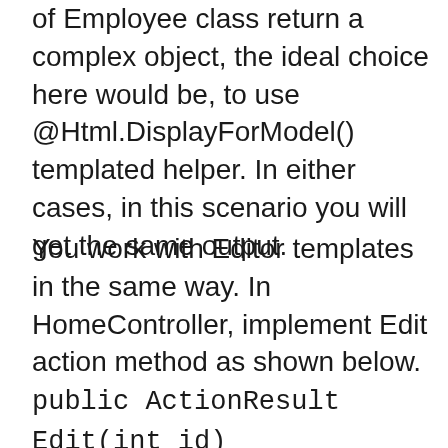of Employee class return a complex object, the ideal choice here would be, to use @Html.DisplayForModel() templated helper. In either cases, in this scenario you will get the same output.
You work with Editor templates in the same way. In HomeController, implement Edit action method as shown below.
public ActionResult Edit(int id)
{
SampleDBContext db = new SampleDBContext();
Employee employee = db.Employees.Single(x =] x.Id == id);